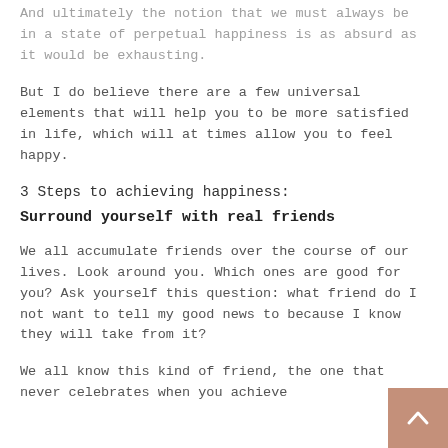And ultimately the notion that we must always be in a state of perpetual happiness is as absurd as it would be exhausting.
But I do believe there are a few universal elements that will help you to be more satisfied in life, which will at times allow you to feel happy.
3 Steps to achieving happiness:
Surround yourself with real friends
We all accumulate friends over the course of our lives. Look around you. Which ones are good for you? Ask yourself this question: what friend do I not want to tell my good news to because I know they will take from it?
We all know this kind of friend, the one that never celebrates when you achieve